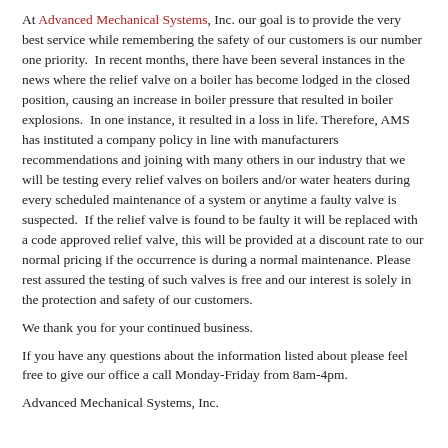At Advanced Mechanical Systems, Inc. our goal is to provide the very best service while remembering the safety of our customers is our number one priority. In recent months, there have been several instances in the news where the relief valve on a boiler has become lodged in the closed position, causing an increase in boiler pressure that resulted in boiler explosions. In one instance, it resulted in a loss in life. Therefore, AMS has instituted a company policy in line with manufacturers recommendations and joining with many others in our industry that we will be testing every relief valves on boilers and/or water heaters during every scheduled maintenance of a system or anytime a faulty valve is suspected. If the relief valve is found to be faulty it will be replaced with a code approved relief valve, this will be provided at a discount rate to our normal pricing if the occurrence is during a normal maintenance. Please rest assured the testing of such valves is free and our interest is solely in the protection and safety of our customers.
We thank you for your continued business.
If you have any questions about the information listed about please feel free to give our office a call Monday-Friday from 8am-4pm.
Advanced Mechanical Systems, Inc.